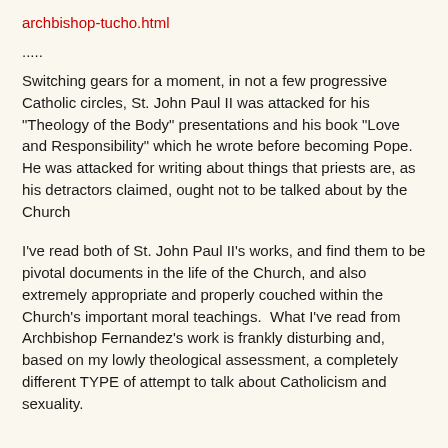archbishop-tucho.html
.....
Switching gears for a moment, in not a few progressive Catholic circles, St. John Paul II was attacked for his "Theology of the Body" presentations and his book "Love and Responsibility" which he wrote before becoming Pope. He was attacked for writing about things that priests are, as his detractors claimed, ought not to be talked about by the Church
I've read both of St. John Paul II's works, and find them to be pivotal documents in the life of the Church, and also extremely appropriate and properly couched within the Church's important moral teachings.  What I've read from Archbishop Fernandez's work is frankly disturbing and, based on my lowly theological assessment, a completely different TYPE of attempt to talk about Catholicism and sexuality.